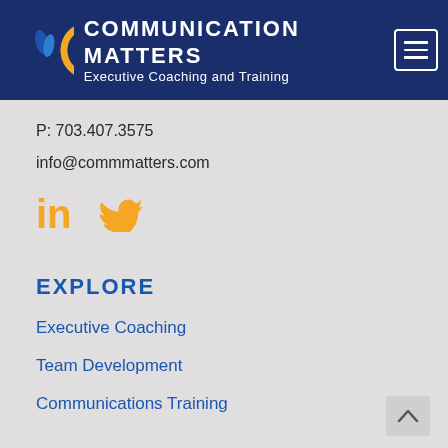[Figure (logo): Communication Matters logo with orange circular C and blue leaf/flame icon, white text 'COMMUNICATION MATTERS Executive Coaching and Training' on dark navy background, with hamburger menu button top right]
P: 703.407.3575
info@commmatters.com
[Figure (other): Orange LinkedIn 'in' icon and orange Twitter bird icon]
EXPLORE
Executive Coaching
Team Development
Communications Training